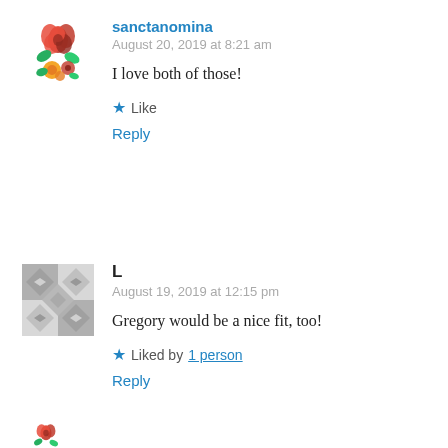[Figure (illustration): Floral avatar image with red roses and colorful flowers]
sanctanomina
August 20, 2019 at 8:21 am
I love both of those!
★ Like
Reply
[Figure (illustration): Generic gray geometric pattern avatar]
L
August 19, 2019 at 12:15 pm
Gregory would be a nice fit, too!
★ Liked by 1 person
Reply
[Figure (illustration): Partial floral avatar visible at bottom of page]